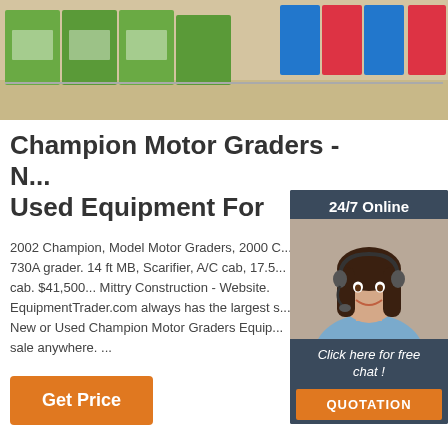[Figure (photo): Photo of green product packages on a retail shelf]
Champion Motor Graders - N... Used Equipment For
2002 Champion, Model Motor Graders, 2000 C... 730A grader. 14 ft MB, Scarifier, A/C cab, 17.5... cab. $41,500... Mittry Construction - Website. EquipmentTrader.com always has the largest s... New or Used Champion Motor Graders Equip... sale anywhere. ...
[Figure (screenshot): 24/7 Online chat widget with a customer service representative photo, 'Click here for free chat!' text and QUOTATION button]